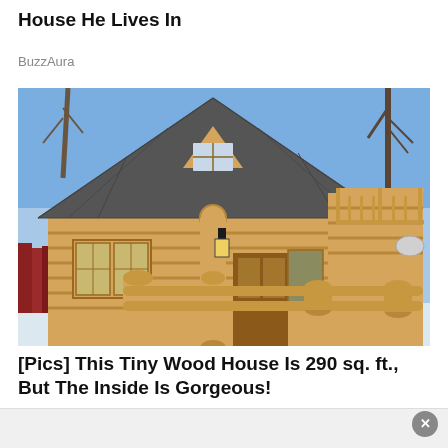[...] House He Lives In
BuzzAura
[Figure (photo): A small, charming log cabin with a steep dark shingled roof, wooden balcony railing, arched front door, windows with wooden frames, a lantern hanging from the porch, and log-roll fencing in the foreground. Snow is visible on the ground and bare trees in the background under a blue sky.]
[Pics] This Tiny Wood House Is 290 sq. ft., But The Inside Is Gorgeous!